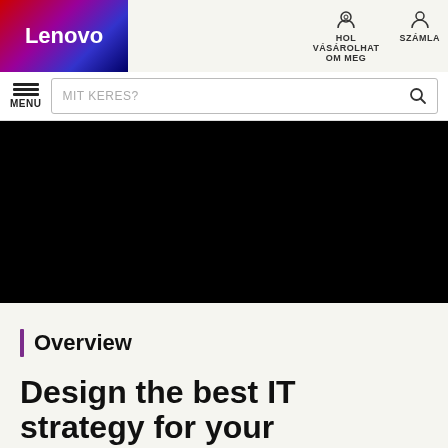[Figure (logo): Lenovo logo on colorful gradient background (red, purple, blue)]
HOL VÁSÁROLHATOM MEG   SZÁMLA
MENU
MIT KERES?
[Figure (photo): Large black hero image area]
Overview
Design the best IT strategy for your